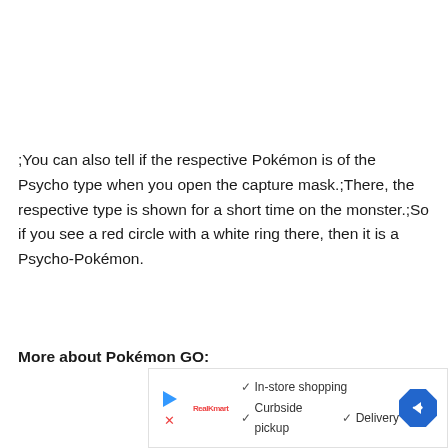;You can also tell if the respective Pokémon is of the Psycho type when you open the capture mask.;There, the respective type is shown for a short time on the monster.;So if you see a red circle with a white ring there, then it is a Psycho-Pokémon.
More about Pokémon GO:
[Figure (other): Advertisement banner showing a store with in-store shopping, curbside pickup, and delivery options, with a navigation arrow icon on the right.]